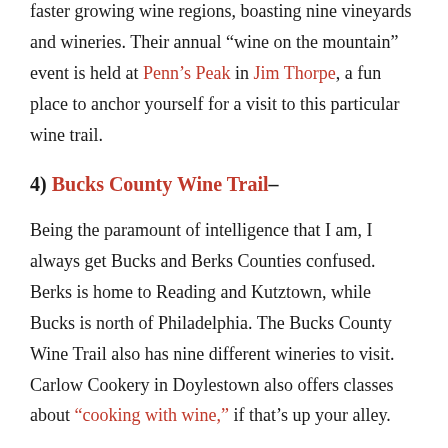faster growing wine regions, boasting nine vineyards and wineries. Their annual “wine on the mountain” event is held at Penn’s Peak in Jim Thorpe, a fun place to anchor yourself for a visit to this particular wine trail.
4) Bucks County Wine Trail–
Being the paramount of intelligence that I am, I always get Bucks and Berks Counties confused. Berks is home to Reading and Kutztown, while Bucks is north of Philadelphia. The Bucks County Wine Trail also has nine different wineries to visit. Carlow Cookery in Doylestown also offers classes about “cooking with wine,” if that’s up your alley.
5) Berks County Wine Trail–